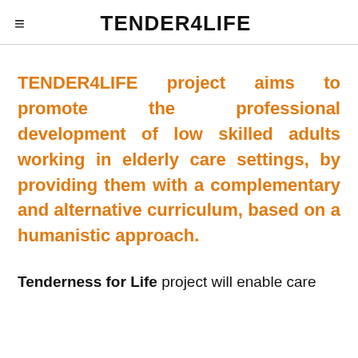TENDER4LIFE
TENDER4LIFE project aims to promote the professional development of low skilled adults working in elderly care settings, by providing them with a complementary and alternative curriculum, based on a humanistic approach.
Tenderness for Life project will enable care